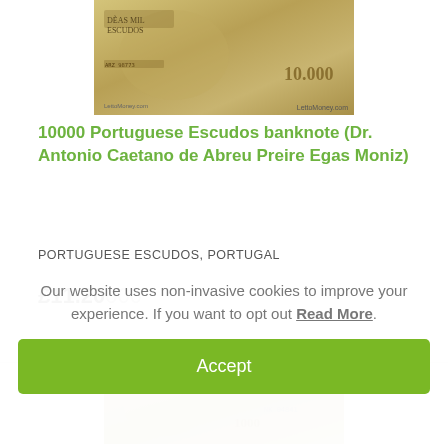[Figure (photo): 10000 Portuguese Escudos banknote image showing the front of the note with decorative elements and text]
10000 Portuguese Escudos banknote (Dr. Antonio Caetano de Abreu Preire Egas Moniz)
PORTUGUESE ESCUDOS, PORTUGAL
£11.20000
[Figure (photo): Second banknote image partially visible at the bottom of the card]
Our website uses non-invasive cookies to improve your experience. If you want to opt out Read More.
Accept